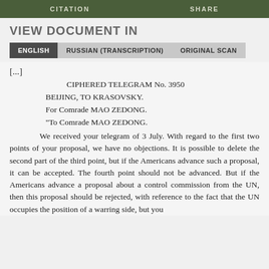CITATION   SHARE
VIEW DOCUMENT IN
ENGLISH   RUSSIAN (TRANSCRIPTION)   ORIGINAL SCAN
[...]
CIPHERED TELEGRAM No. 3950
BEIJING, TO KRASOVSKY.
For Comrade MAO ZEDONG.
"To Comrade MAO ZEDONG.
We received your telegram of 3 July. With regard to the first two points of your proposal, we have no objections. It is possible to delete the second part of the third point, but if the Americans advance such a proposal, it can be accepted. The fourth point should not be advanced. But if the Americans advance a proposal about a control commission from the UN, then this proposal should be rejected, with reference to the fact that the UN occupies the position of a warring side, but you should leave room to maneuver and do not cut off the way for